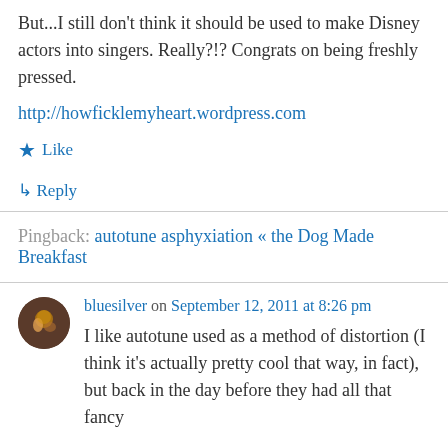But...I still don't think it should be used to make Disney actors into singers. Really?!? Congrats on being freshly pressed.
http://howficklemyheart.wordpress.com
★ Like
↳ Reply
Pingback: autotune asphyxiation « the Dog Made Breakfast
bluesilver on September 12, 2011 at 8:26 pm
I like autotune used as a method of distortion (I think it's actually pretty cool that way, in fact), but back in the day before they had all that fancy